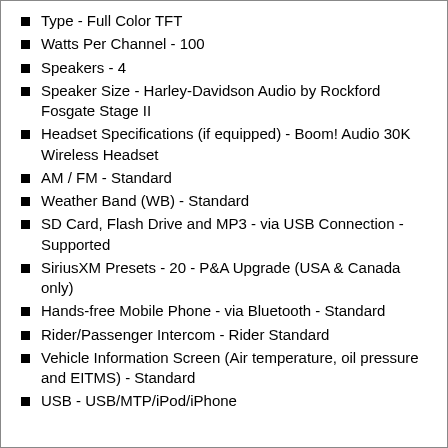Type - Full Color TFT
Watts Per Channel - 100
Speakers - 4
Speaker Size - Harley-Davidson Audio by Rockford Fosgate Stage II
Headset Specifications (if equipped) - Boom! Audio 30K Wireless Headset
AM / FM - Standard
Weather Band (WB) - Standard
SD Card, Flash Drive and MP3 - via USB Connection - Supported
SiriusXM Presets - 20 - P&A Upgrade (USA & Canada only)
Hands-free Mobile Phone - via Bluetooth - Standard
Rider/Passenger Intercom - Rider Standard
Vehicle Information Screen (Air temperature, oil pressure and EITMS) - Standard
USB - USB/MTP/iPod/iPhone